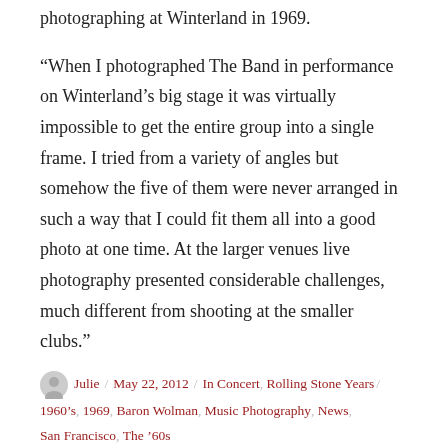photographing at Winterland in 1969.
“When I photographed The Band in performance on Winterland’s big stage it was virtually impossible to get the entire group into a single frame. I tried from a variety of angles but somehow the five of them were never arranged in such a way that I could fit them all into a good photo at one time. At the larger venues live photography presented considerable challenges, much different from shooting at the smaller clubs.”
Julie / May 22, 2012 / In Concert, Rolling Stone Years / 1960’s, 1969, Baron Wolman, Music Photography, News, San Francisco, The ’60s
The Allman Brothers Are